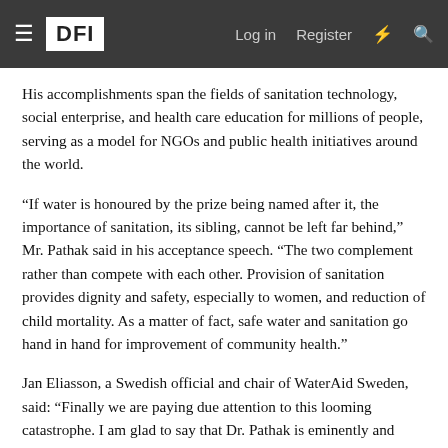DFI | Log in | Register
His accomplishments span the fields of sanitation technology, social enterprise, and health care education for millions of people, serving as a model for NGOs and public health initiatives around the world.
“If water is honoured by the prize being named after it, the importance of sanitation, its sibling, cannot be left far behind,” Mr. Pathak said in his acceptance speech. “The two complement rather than compete with each other. Provision of sanitation provides dignity and safety, especially to women, and reduction of child mortality. As a matter of fact, safe water and sanitation go hand in hand for improvement of community health.”
Jan Eliasson, a Swedish official and chair of WaterAid Sweden, said: “Finally we are paying due attention to this looming catastrophe. I am glad to say that Dr. Pathak is eminently and uniquely suited to take this daunting challenge in hand.”